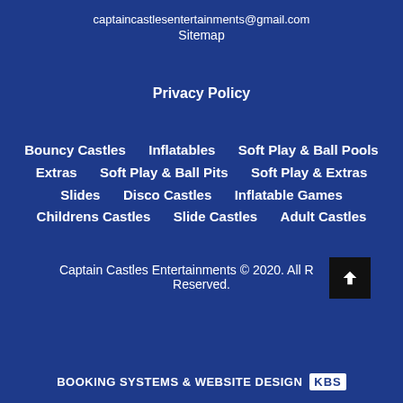captaincastlesentertainments@gmail.com
Sitemap
Privacy Policy
Bouncy Castles
Inflatables
Soft Play & Ball Pools
Extras
Soft Play & Ball Pits
Soft Play & Extras
Slides
Disco Castles
Inflatable Games
Childrens Castles
Slide Castles
Adult Castles
Captain Castles Entertainments © 2020. All Rights Reserved.
BOOKING SYSTEMS & WEBSITE DESIGN KBS